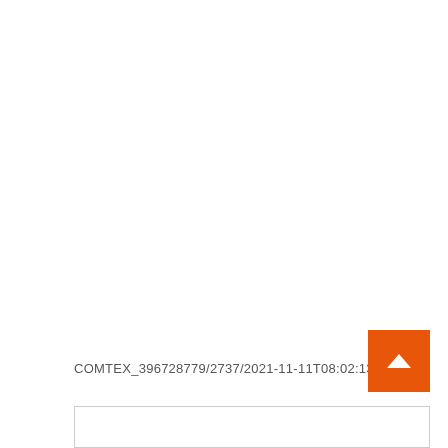COMTEX_396728779/2737/2021-11-11T08:02:13